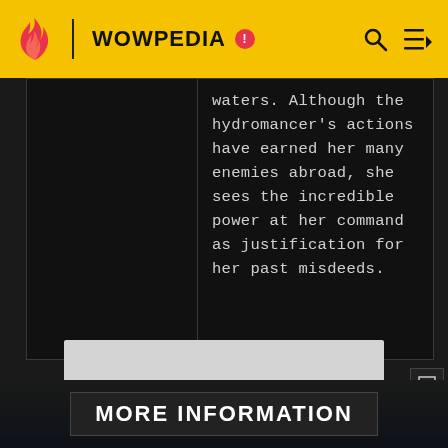WOWPEDIA
waters. Although the hydromancer's actions have earned her many enemies abroad, she sees the incredible power at her command as justification for her past misdeeds.
[Figure (other): Advertisement placeholder box (gray rectangle)]
ADVERTISEMENT
MORE INFORMATION